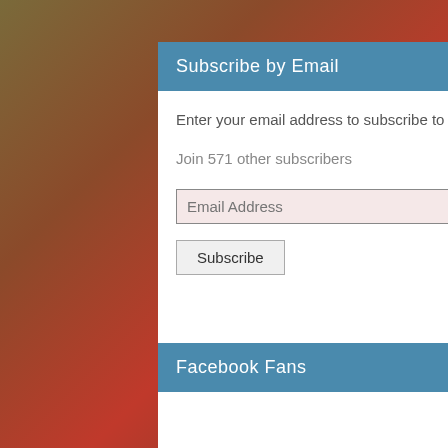Subscribe by Email
Enter your email address to subscribe to this blog and receive notifications of new posts by email.
Join 571 other subscribers
[Figure (screenshot): Email Address input field with light pink background]
[Figure (screenshot): Subscribe button]
Facebook Fans
Twitter Timeline
My Tweets